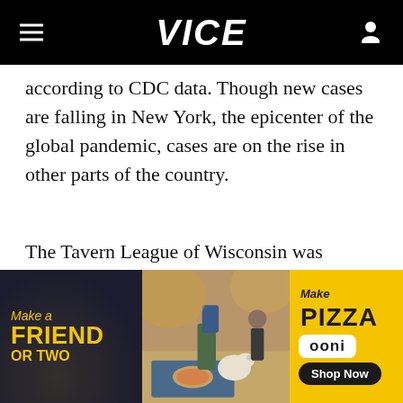VICE
according to CDC data. Though new cases are falling in New York, the epicenter of the global pandemic, cases are on the rise in other parts of the country.
The Tavern League of Wisconsin was undeterred by all that. They advised the bars in the state that the court’s decision means all Wisconsin bars … “are immediately…”
[Figure (photo): Advertisement banner for Ooni pizza oven. Left dark section reads 'Make a FRIEND OR TWO' in yellow text. Center shows a photo of people and dogs at a picnic with a pizza. Right yellow section reads 'Make PIZZA', 'ooni', 'Shop Now'.]